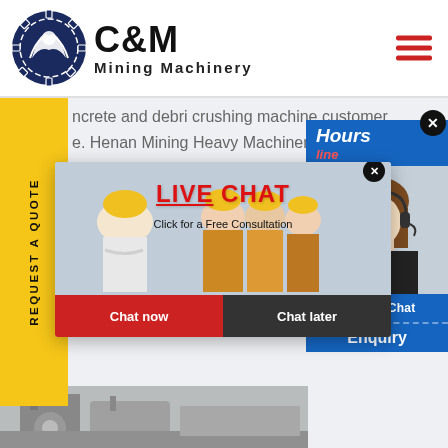[Figure (logo): C&M Mining Machinery logo with eagle gear icon in dark navy blue circle]
ncrete and debri crushing machine customer e. Henan Mining Heavy Machinery Co., Ltd.,is a e joint-s e joint-s nufactu hinery; 40,000m about 500 sets of big and med cessing, riveting, welding and as ipment.
[Figure (screenshot): Live chat popup with workers in hard hats background, LIVE CHAT text in red, 'Click for a Free Consultation', Chat now and Chat later buttons]
[Figure (screenshot): Right side chat widget showing Hours Online, female agent with headset, Click to Chat button, Enquiry label]